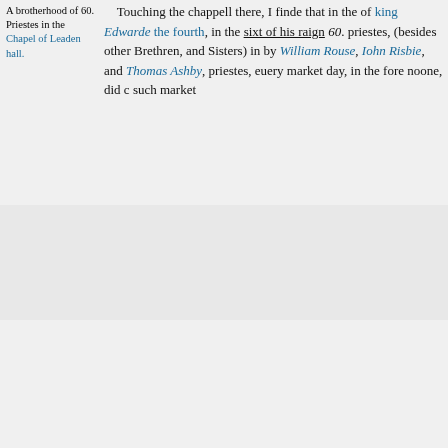A brotherhood of 60. Priestes in the Chapel of Leaden hall.
Touching the chappell there, I finde that in the of king Edwarde the fourth, in the sixt of his raign 60. priestes, (besides other Brethren, and Sisters) in by William Rouse, Iohn Risbie, and Thomas Ashby, priestes, euery market day, in the fore noone, did c such market
[I4r]
[Figure (other): Facsimile page button with external link icon]
119
people as repayred to prayer, and once euery yeare solemne seruice, with procession of all the brethren in the yere, 1512. by a common counsaile confirme to their successors at the will of the Maior and Con in the yeare, 1484. a greate fire happened vpon this know not, but much howsing was there destroyed w other prouision belonging to the Citie, which was a